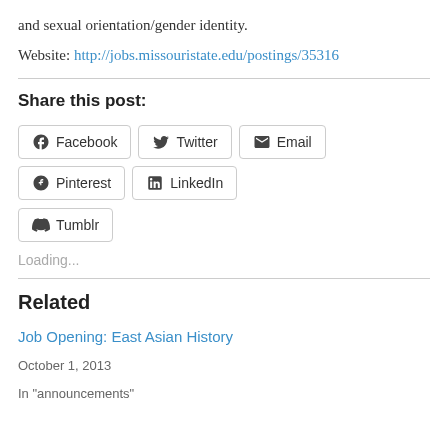and sexual orientation/gender identity.
Website: http://jobs.missouristate.edu/postings/35316
Share this post:
Facebook  Twitter  Email  Pinterest  LinkedIn  Tumblr
Loading...
Related
Job Opening: East Asian History
October 1, 2013
In "announcements"